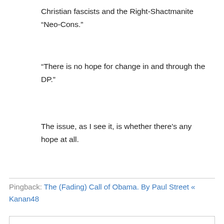Christian fascists and the Right-Shactmanite “Neo-Cons.”
“There is no hope for change in and through the DP.”
The issue, as I see it, is whether there’s any hope at all.
Pingback: The (Fading) Call of Obama. By Paul Street « Kanan48